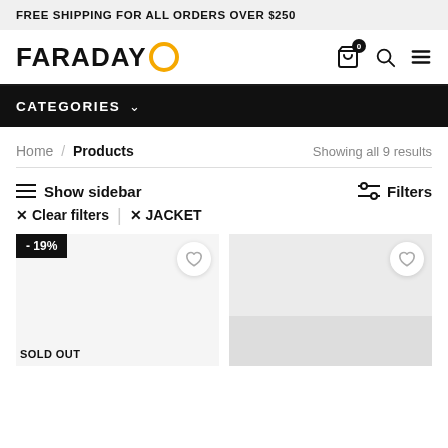FREE SHIPPING FOR ALL ORDERS OVER $250
[Figure (logo): FARADAY logo with orange circle replacing the letter O]
CATEGORIES
Home / Products — Showing all 9 results
Show sidebar
Filters
× Clear filters | × JACKET
- 19%
SOLD OUT